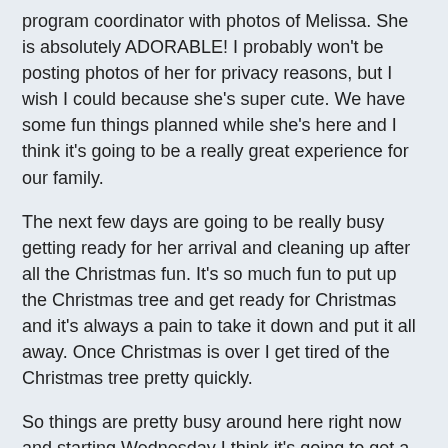program coordinator with photos of Melissa. She is absolutely ADORABLE! I probably won't be posting photos of her for privacy reasons, but I wish I could because she's super cute. We have some fun things planned while she's here and I think it's going to be a really great experience for our family.
The next few days are going to be really busy getting ready for her arrival and cleaning up after all the Christmas fun. It's so much fun to put up the Christmas tree and get ready for Christmas and it's always a pain to take it down and put it all away. Once Christmas is over I get tired of the Christmas tree pretty quickly.
So things are pretty busy around here right now and starting Wednesday I think it's going to get a lot busier! It's a fun kind of busy though, so I really can't wait! :)
Wendy at 5:09 PM    1 comment:
THURSDAY, DECEMBER 24, 2009
Merry Christmas from the Whites...